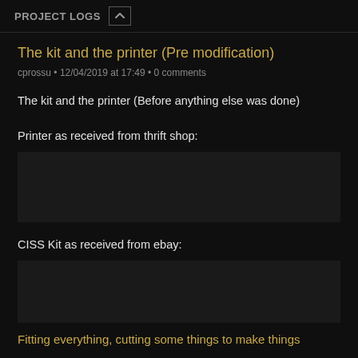PROJECT LOGS
The kit and the printer (Pre modification)
cprossu • 12/04/2019 at 17:49 • 0 comments
The kit and the printer (Before anything else was done)
Printer as received from thrift shop:
[Figure (photo): Empty placeholder area for printer image]
CISS Kit as received from ebay:
[Figure (photo): Empty placeholder area for CISS kit image]
Fitting everything, cutting some things to make things